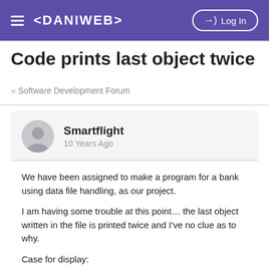≡ <DANIWEB>  →) Log In
Code prints last object twice
« Software Development Forum
Smartflight
10 Years Ago
We have been assigned to make a program for a bank using data file handling, as our project.

I am having some trouble at this point... the last object written in the file is printed twice and I've no clue as to why.

Case for display:
file.open("Records.dat", ios::in | ios::binary);
    if (!file)